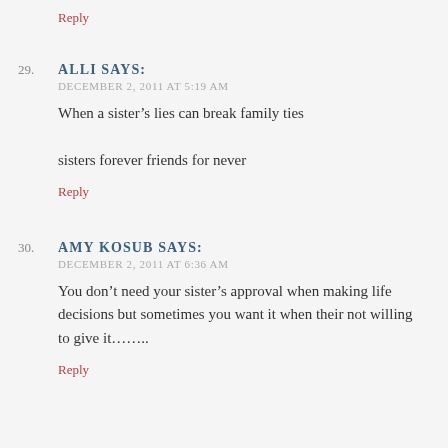Reply
29. ALLI SAYS:
DECEMBER 2, 2011 AT 5:19 AM
When a sister's lies can break family ties

sisters forever friends for never
Reply
30. AMY KOSUB SAYS:
DECEMBER 2, 2011 AT 6:36 AM
You don't need your sister's approval when making life decisions but sometimes you want it when their not willing to give it………
Reply